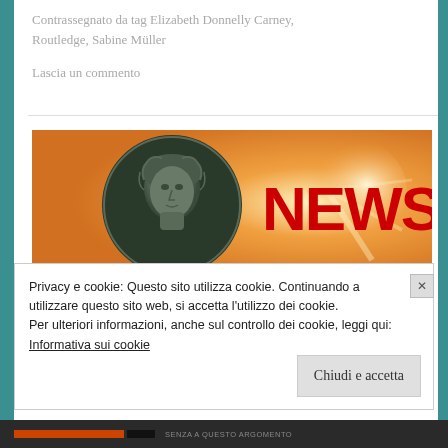Contrassegnato da tag Elizabeth Donnelly Carney, Routledge, Sabine Müller
Lascia un commento
[Figure (illustration): News banner image showing a classical bronze medallion portrait on the left and bold red NEWS text on a warm orange glowing background on the right]
Privacy e cookie: Questo sito utilizza cookie. Continuando a utilizzare questo sito web, si accetta l'utilizzo dei cookie.
Per ulteriori informazioni, anche sul controllo dei cookie, leggi qui:
Informativa sui cookie
Chiudi e accetta